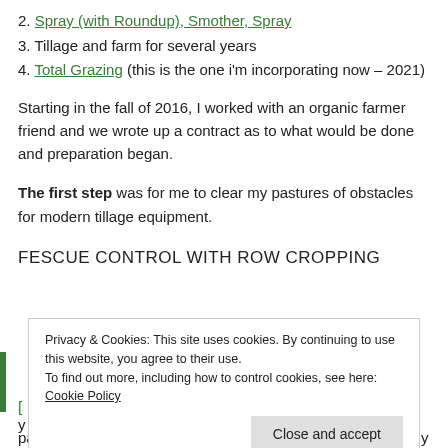2. Spray (with Roundup), Smother, Spray
3. Tillage and farm for several years
4. Total Grazing (this is the one i'm incorporating now – 2021)
Starting in the fall of 2016, I worked with an organic farmer friend and we wrote up a contract as to what would be done and preparation began.
The first step was for me to clear my pastures of obstacles for modern tillage equipment.
FESCUE CONTROL WITH ROW CROPPING
Privacy & Cookies: This site uses cookies. By continuing to use this website, you agree to their use. To find out more, including how to control cookies, see here: Cookie Policy
Close and accept
part of my fescue elimination project.  Alas, that isn't true in my